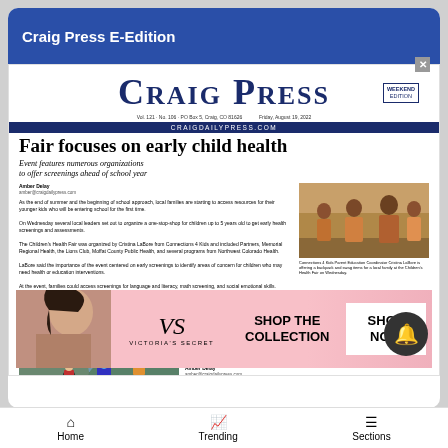Craig Press E-Edition
CRAIG PRESS
Vol. 121 · No. 106 · PO Box 5, Craig, CO 81626   Friday, August 19, 2022
CRAIGDAILYPRESS.COM
Fair focuses on early child health
Event features numerous organizations to offer screenings ahead of school year
Amber Delay
amber@craigdailypress.com
As the end of summer and the beginning of school approach, local families are starting to access resources for their younger kids who will be entering school for the first time. On Wednesday several local leaders set out to organize a one-stop-shop for children up to 5 years old to get early health screenings and assessments. The Children's Health Fair was organized by Cristina LaBore...
[Figure (photo): Photo of children at the Children's Health Fair event]
Connections 4 Kids Parent Education Coordinator Cristina LaBore is offering a backpack and swag items for a local family at the Children's Health Fair on Wednesday.
Motocross series revs up young riders
Season ends with organizers pumped to expand races
Amber Delay
amber@craigdailypress.com
[Figure (photo): Photo of young motocross riders at a dirt track]
[Figure (advertisement): Victoria's Secret advertisement - SHOP THE COLLECTION - SHOP NOW]
Home   Trending   Sections